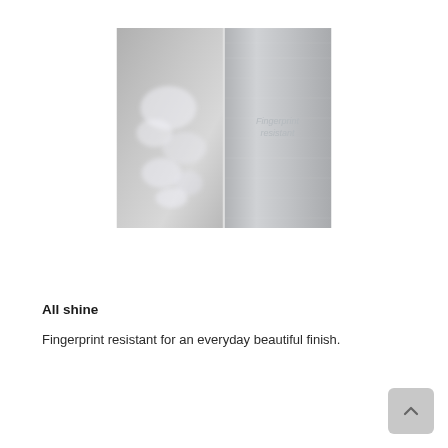[Figure (photo): Side-by-side comparison of two stainless steel surfaces. Left half shows a smudged, fingerprint-covered surface. Right half shows a clean, brushed stainless steel surface with text overlay reading 'Fingerprint resistant'.]
All shine
Fingerprint resistant for an everyday beautiful finish.